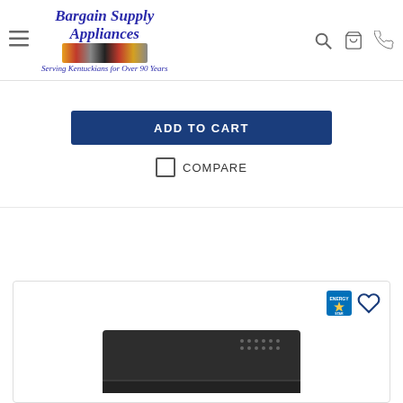Bargain Supply Appliances — Serving Kentuckians for Over 90 Years
ADD TO CART
COMPARE
People also viewed:
[Figure (photo): Product card showing a dark-colored cooktop or range hood appliance with Energy Star badge and heart/wishlist icon in the top right corner of the card.]